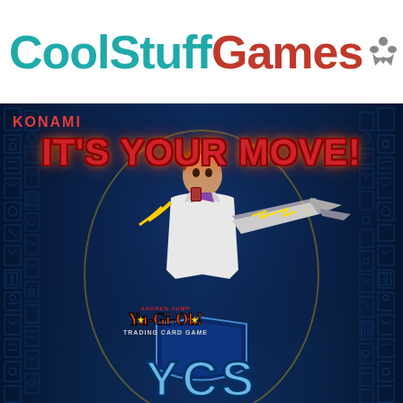[Figure (logo): CoolStuffGames logo with teal and red text, meeple and dice icons]
[Figure (illustration): Yu-Gi-Oh! YCS promotional image featuring Seto Kaiba character with duel disk on dark blue Egyptian hieroglyph background, with KONAMI branding, IT'S YOUR MOVE! text, Yu-Gi-Oh! Trading Card Game logo, and YCS championship logo at bottom]